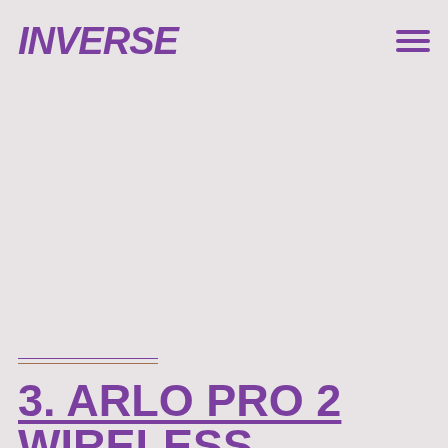INVERSE
3. ARLO PRO 2 WIRELESS HOME SECURITY CAMERA